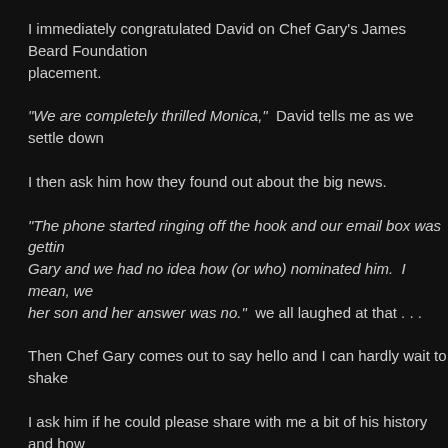I immediately congratulated David on Chef Gary's James Beard Foundation placement.
“We are completely thrilled Monica,”  David tells me as we settle down
I then ask him how they found out about the big news.
“The phone started ringing off the hook and our email box was getting full. Gary and we had no idea how (or who) nominated him.  I mean, we asked her son and her answer was no.”  we all laughed at that . . .
Then Chef Gary comes out to say hello and I can hardly wait to shake
I ask him if he could please share with me a bit of his history and how
“I was working in Jackson, Wyoming and it was wonderful!  But Stacey that we wanted to settle down somewhere else.  Somewhere where spent time here with family growing up and when she introduced me us.”